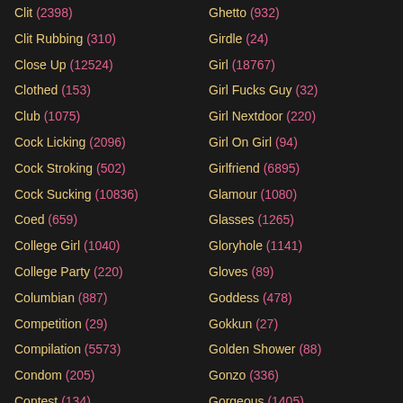Clit (2398)
Ghetto (932)
Clit Rubbing (310)
Girdle (24)
Close Up (12524)
Girl (18767)
Clothed (153)
Girl Fucks Guy (32)
Club (1075)
Girl Nextdoor (220)
Cock Licking (2096)
Girl On Girl (94)
Cock Stroking (502)
Girlfriend (6895)
Cock Sucking (10836)
Glamour (1080)
Coed (659)
Glasses (1265)
College Girl (1040)
Gloryhole (1141)
College Party (220)
Gloves (89)
Columbian (887)
Goddess (478)
Competition (29)
Gokkun (27)
Compilation (5573)
Golden Shower (88)
Condom (205)
Gonzo (336)
Contest (134)
Gorgeous (1405)